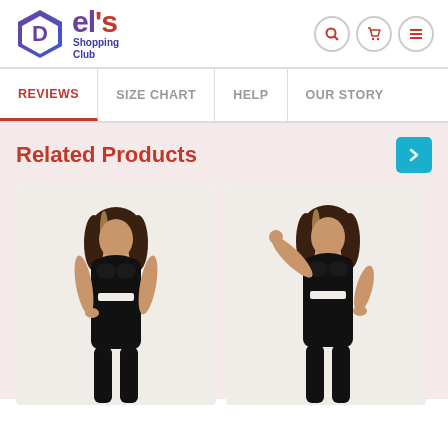[Figure (logo): Del's Shopping Club logo with hexagon icon in purple/blue gradient and red/purple text]
REVIEWS | SIZE CHART | HELP | OUR STORY
Related Products
[Figure (photo): Woman wearing black shapewear bodysuit, full-length, standing pose]
[Figure (photo): Woman wearing black shapewear bodysuit with zipper front, arms raised pose]